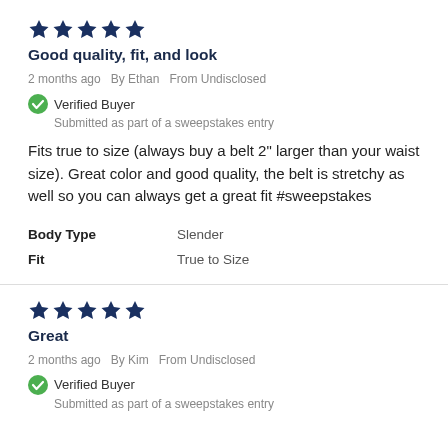[Figure (other): 5 filled dark blue stars rating]
Good quality, fit, and look
2 months ago  By Ethan  From Undisclosed
Verified Buyer
Submitted as part of a sweepstakes entry
Fits true to size (always buy a belt 2" larger than your waist size). Great color and good quality, the belt is stretchy as well so you can always get a great fit #sweepstakes
| Body Type | Slender |
| Fit | True to Size |
[Figure (other): 5 filled dark blue stars rating]
Great
2 months ago  By Kim  From Undisclosed
Verified Buyer
Submitted as part of a sweepstakes entry